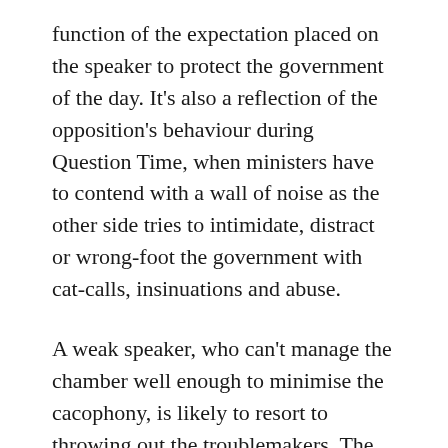function of the expectation placed on the speaker to protect the government of the day. It's also a reflection of the opposition's behaviour during Question Time, when ministers have to contend with a wall of noise as the other side tries to intimidate, distract or wrong-foot the government with cat-calls, insinuations and abuse.
A weak speaker, who can't manage the chamber well enough to minimise the cacophony, is likely to resort to throwing out the troublemakers. The fact that Bishop has ejected more MPs in her time than any other speaker is one of several indicators that she is unable to effectively perform the role.